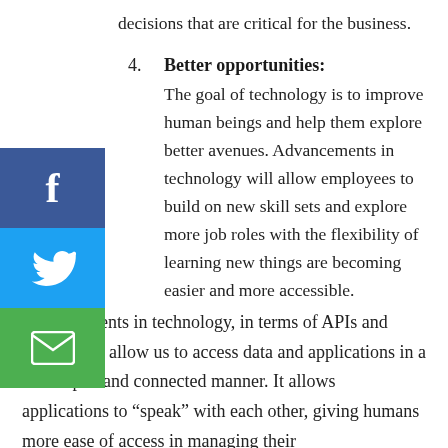decisions that are critical for the business.
4. Better opportunities: The goal of technology is to improve human beings and help them explore better avenues. Advancements in technology will allow employees to build on new skill sets and explore more job roles with the flexibility of learning new things are becoming easier and more accessible.
Advancements in technology, in terms of APIs and integration, allow us to access data and applications in a more open and connected manner. It allows applications to “speak” with each other, giving humans more ease of access in managing their